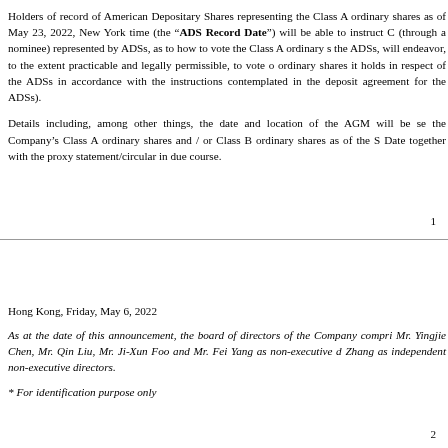Holders of record of American Depositary Shares representing the Class A ordinary shares as of May 23, 2022, New York time (the "ADS Record Date") will be able to instruct Citibank, N.A. (through a nominee) represented by ADSs, as to how to vote the Class A ordinary shares represented by the ADSs, will endeavor, to the extent practicable and legally permissible, to vote or cause to vote the ordinary shares it holds in respect of the ADSs in accordance with the instructions received (as contemplated in the deposit agreement for the ADSs).
Details including, among other things, the date and location of the AGM will be set out to holders of the Company's Class A ordinary shares and / or Class B ordinary shares as of the Share Record Date together with the proxy statement/circular in due course.
1
Hong Kong, Friday, May 6, 2022
As at the date of this announcement, the board of directors of the Company comprises Mr. Yingjie Chen, Mr. Qin Liu, Mr. Ji-Xun Foo and Mr. Fei Yang as non-executive directors; and Zhang as independent non-executive directors.
* For identification purpose only
2